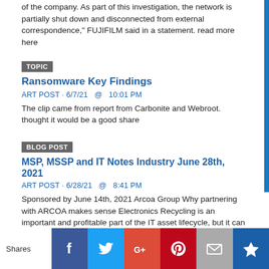of the company. As part of this investigation, the network is partially shut down and disconnected from external correspondence," FUJIFILM said in a statement. read more here
TOPIC
Ransomware Key Findings
ART POST · 6/7/21  @  10:01 PM
The clip came from report from Carbonite and Webroot. thought it would be a good share
BLOG POST
MSP, MSSP and IT Notes Industry June 28th, 2021
ART POST · 6/28/21  @  8:41 PM
Sponsored by June 14th, 2021 Arcoa Group Why partnering with ARCOA makes sense Electronics Recycling is an important and profitable part of the IT asset lifecycle, but it can be overwhelming with all you already do, varying state regulations, and the limited resources at hand. That's where ARCOA comes in. When you partner with ARCOA, you get all the benefits
Shares  [Facebook] [Twitter] [Google+] [Pinterest] [Email] [Crown]